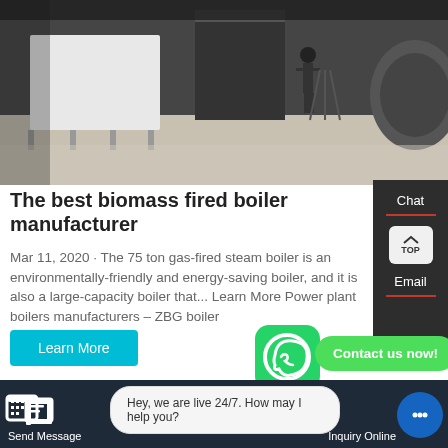[Figure (photo): Industrial boiler factory floor with white boiler units and a person standing near a camera tripod]
The best biomass fired boiler manufacturer
Mar 11, 2020 · The 75 ton gas-fired steam boiler is an environmentally-friendly and energy-saving boiler, and it is also a large-capacity boiler that... Learn More Power plant boilers manufacturers – ZBG boiler
[Figure (photo): Close-up of industrial boiler machinery components]
Send Message
Hey, we are live 24/7. How may I help you?
Inquiry Online